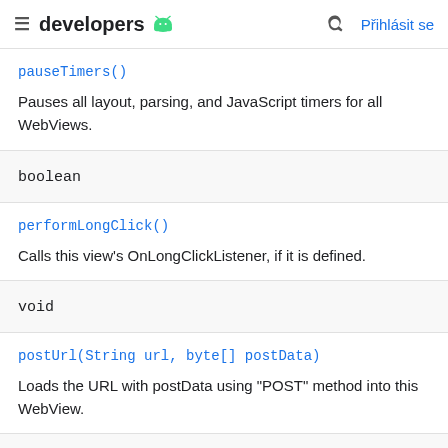developers [android logo] [search icon] Přihlásit se
pauseTimers()
Pauses all layout, parsing, and JavaScript timers for all WebViews.
boolean
performLongClick()
Calls this view's OnLongClickListener, if it is defined.
void
postUrl(String url, byte[] postData)
Loads the URL with postData using "POST" method into this WebView.